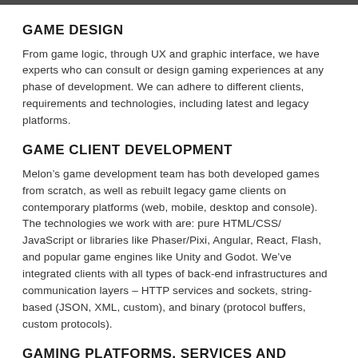GAME DESIGN
From game logic, through UX and graphic interface, we have experts who can consult or design gaming experiences at any phase of development. We can adhere to different clients, requirements and technologies, including latest and legacy platforms.
GAME CLIENT DEVELOPMENT
Melon’s game development team has both developed games from scratch, as well as rebuilt legacy game clients on contemporary platforms (web, mobile, desktop and console). The technologies we work with are: pure HTML/CSS/ JavaScript or libraries like Phaser/Pixi, Angular, React, Flash, and popular game engines like Unity and Godot. We’ve integrated clients with all types of back-end infrastructures and communication layers – HTTP services and sockets, string-based (JSON, XML, custom), and binary (protocol buffers, custom protocols).
GAMING PLATFORMS, SERVICES AND MANAGEMENT